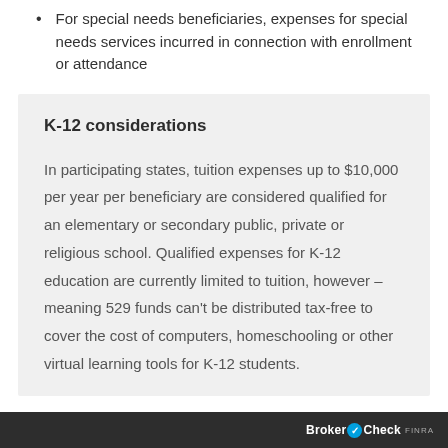For special needs beneficiaries, expenses for special needs services incurred in connection with enrollment or attendance
K-12 considerations
In participating states, tuition expenses up to $10,000 per year per beneficiary are considered qualified for an elementary or secondary public, private or religious school. Qualified expenses for K-12 education are currently limited to tuition, however – meaning 529 funds can't be distributed tax-free to cover the cost of computers, homeschooling or other virtual learning tools for K-12 students.
BrokerCheck FINRA